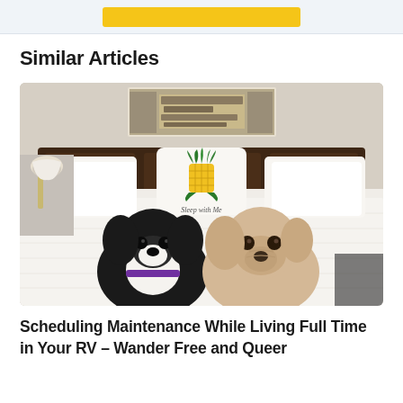[Figure (other): Yellow button/banner in a light blue-gray top bar area]
Similar Articles
[Figure (photo): Two small dogs (one black and white, one cream/tan) sitting on a white hotel bed with pillows including one with a pineapple design reading 'Sleep with Me'. Above the headboard is a black and white concert poster for Wilco.]
Scheduling Maintenance While Living Full Time in Your RV – Wander Free and Queer